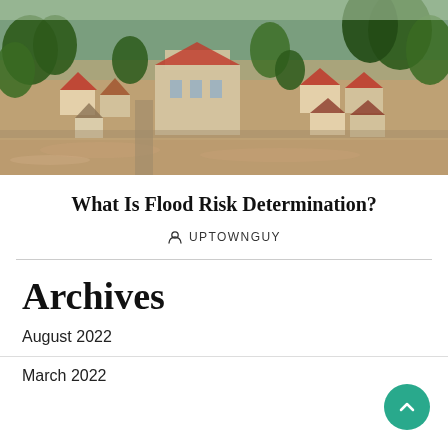[Figure (photo): Aerial view of a flooded residential neighborhood with brown floodwater surrounding houses, buildings with red tile roofs, and trees.]
What Is Flood Risk Determination?
UPTOWNGUY
Archives
August 2022
March 2022